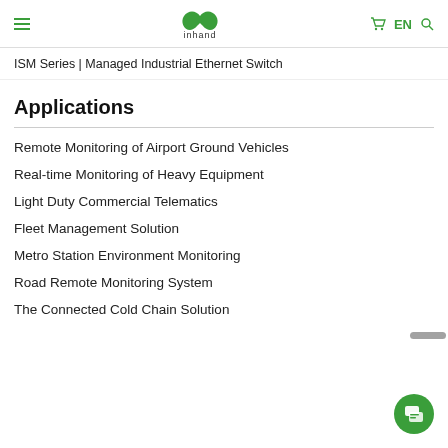inhand [logo] EN
ISM Series | Managed Industrial Ethernet Switch
Applications
Remote Monitoring of Airport Ground Vehicles
Real-time Monitoring of Heavy Equipment
Light Duty Commercial Telematics
Fleet Management Solution
Metro Station Environment Monitoring
Road Remote Monitoring System
The Connected Cold Chain Solution